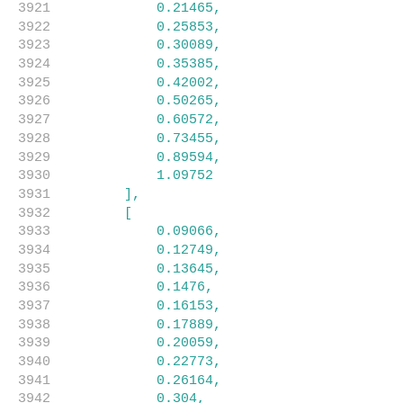3921    0.21465,
3922    0.25853,
3923    0.30089,
3924    0.35385,
3925    0.42002,
3926    0.50265,
3927    0.60572,
3928    0.73455,
3929    0.89594,
3930    1.09752
3931    ],
3932    [
3933    0.09066,
3934    0.12749,
3935    0.13645,
3936    0.1476,
3937    0.16153,
3938    0.17889,
3939    0.20059,
3940    0.22773,
3941    0.26164,
3942    0.304,